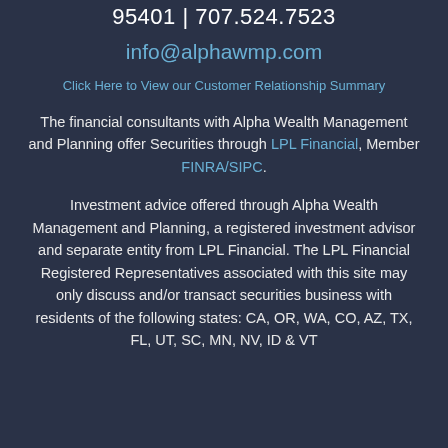95401 | 707.524.7523
info@alphawmp.com
Click Here to View our Customer Relationship Summary
The financial consultants with Alpha Wealth Management and Planning offer Securities through LPL Financial, Member FINRA/SIPC.
Investment advice offered through Alpha Wealth Management and Planning, a registered investment advisor and separate entity from LPL Financial. The LPL Financial Registered Representatives associated with this site may only discuss and/or transact securities business with residents of the following states: CA, OR, WA, CO, AZ, TX, FL, UT, SC, MN, NV, ID & VT